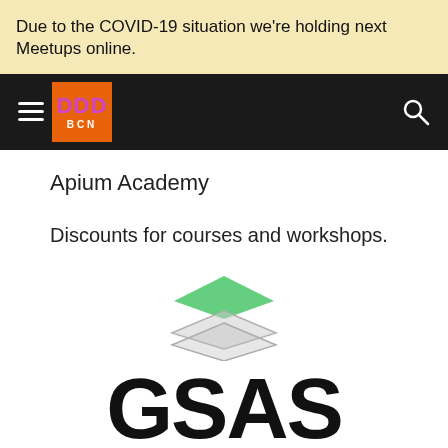Due to the COVID-19 situation we're holding next Meetups online.
[Figure (logo): DDD BCN logo in navbar with hamburger menu and search icon]
Apium Academy
Discounts for courses and workshops.
[Figure (logo): GSAS stacked layers logo with green diamond on top and grey layers below, with GSAS text]